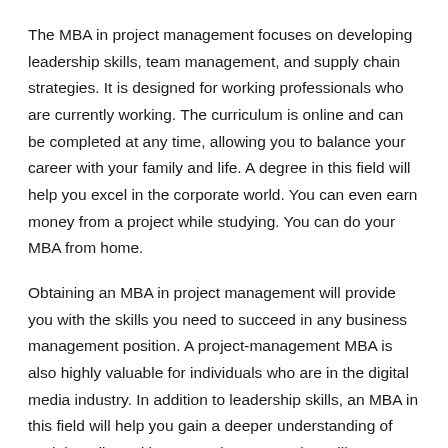The MBA in project management focuses on developing leadership skills, team management, and supply chain strategies. It is designed for working professionals who are currently working. The curriculum is online and can be completed at any time, allowing you to balance your career with your family and life. A degree in this field will help you excel in the corporate world. You can even earn money from a project while studying. You can do your MBA from home.
Obtaining an MBA in project management will provide you with the skills you need to succeed in any business management position. A project-management MBA is also highly valuable for individuals who are in the digital media industry. In addition to leadership skills, an MBA in this field will help you gain a deeper understanding of social media and how to make content that will engage audiences. If you are looking for a job in social media, an MBA in this area is ideal for you.